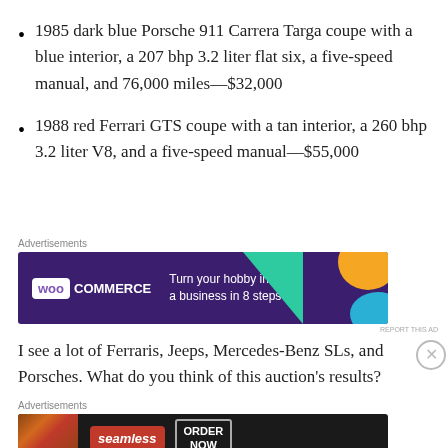1985 dark blue Porsche 911 Carrera Targa coupe with a blue interior, a 207 bhp 3.2 liter flat six, a five-speed manual, and 76,000 miles—$32,000
1988 red Ferrari GTS coupe with a tan interior, a 260 bhp 3.2 liter V8, and a five-speed manual—$55,000
Advertisements
[Figure (other): WooCommerce advertisement banner: purple background with teal triangle and orange/blue decorative shapes. Text reads 'WooCommerce — Turn your hobby into a business in 8 steps']
I see a lot of Ferraris, Jeeps, Mercedes-Benz SLs, and Porsches. What do you think of this auction's results?
Advertisements
[Figure (other): Seamless food delivery advertisement: dark background with pizza image, Seamless red badge, and ORDER NOW button]